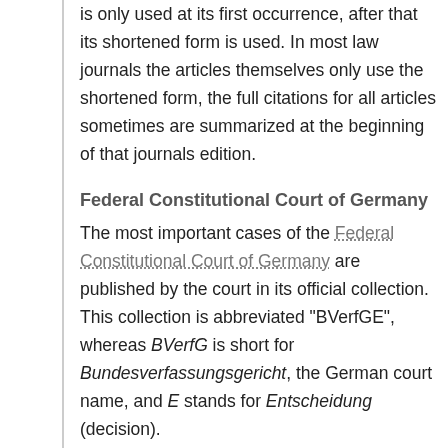is only used at its first occurrence, after that its shortened form is used. In most law journals the articles themselves only use the shortened form, the full citations for all articles sometimes are summarized at the beginning of that journals edition.
Federal Constitutional Court of Germany
The most important cases of the Federal Constitutional Court of Germany are published by the court in its official collection. This collection is abbreviated "BVerfGE", whereas BVerfG is short for Bundesverfassungsgericht, the German court name, and E stands for Entscheidung (decision).
Starting in 2004, the court also publishes the "BVerfGK" collection, containing decisions made only by a Kammer, a specific part of the court